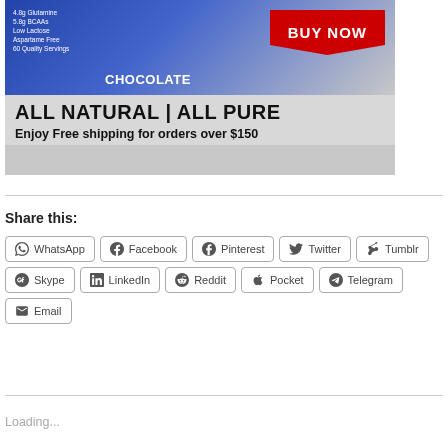[Figure (advertisement): Protein Matrix chocolate protein powder advertisement with blue packaging, red ribbon 'BUY NOW' button, text 'ALL NATURAL | ALL PURE' and 'Enjoy Free shipping for orders over $150']
Share this:
WhatsApp   Facebook   Pinterest   Twitter   Tumblr   Skype   LinkedIn   Reddit   Pocket   Telegram   Email
Loading...